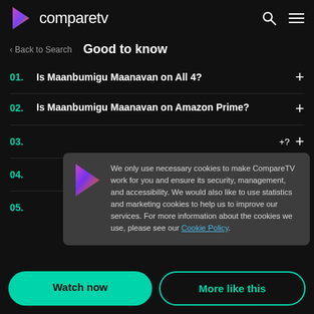comparetv
Good to know
01. Is Maanbumigu Maanavan on All 4?
02. Is Maanbumigu Maanavan on Amazon Prime?
03. [partial]
04. [partial]
05. [partial]
We only use necessary cookies to make CompareTV work for you and ensure its security, management, and accessibility. We would also like to use statistics and marketing cookies to help us to improve our services. For more information about the cookies we use, please see our Cookie Policy.